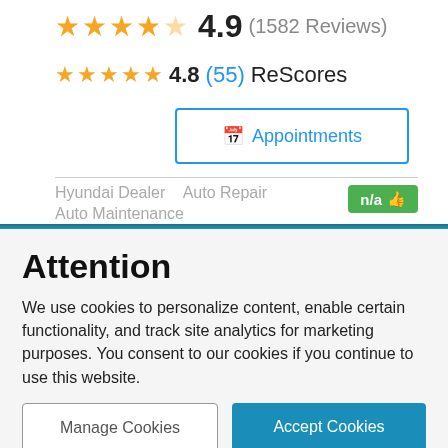[Figure (screenshot): Star rating row showing approximately 4.9 stars (gold) with text '4.9 (1582 Reviews)']
4.8  (55) ReScores
[Figure (screenshot): Appointments button with calendar icon, blue border]
Hyundai Dealer   Auto Repair   Auto Maintenance
[Figure (screenshot): Green badge showing 'n/a' with thumbs up icon]
Attention
We use cookies to personalize content, enable certain functionality, and track site analytics for marketing purposes. You consent to our cookies if you continue to use this website.
Manage Cookies
Accept Cookies